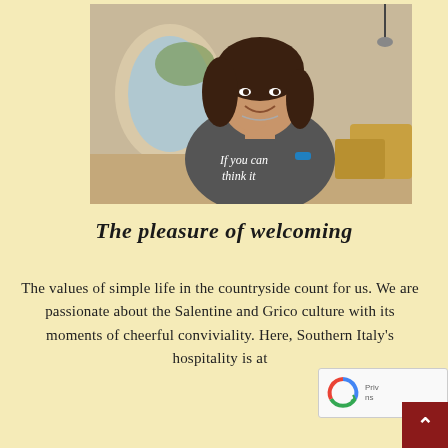[Figure (photo): A woman smiling, wearing a grey t-shirt that reads 'If you can think it', sitting under an arched structure with hay bales in background.]
The pleasure of welcoming
The values of simple life in the countryside count for us. We are passionate about the Salentine and Grico culture with its moments of cheerful conviviality. Here, Southern Italy's hospitality is at